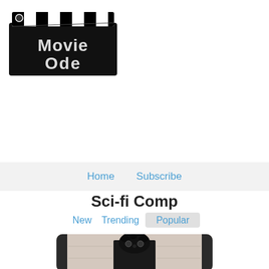[Figure (logo): Movie Ode clapperboard logo with black and white striped top bar and distressed white text reading 'Movie Ode' on black background]
Home   Subscribe
Sci-fi Comp
New   Trending   Popular
[Figure (photo): A sci-fi themed movie image showing a dark figure with tentacle-like head gear against a muted background]